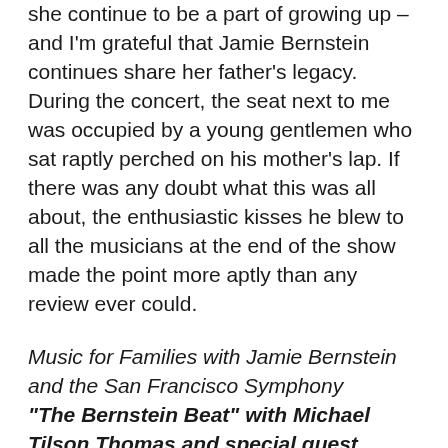she continue to be a part of growing up – and I'm grateful that Jamie Bernstein continues share her father's legacy. During the concert, the seat next to me was occupied by a young gentlemen who sat raptly perched on his mother's lap. If there was any doubt what this was all about, the enthusiastic kisses he blew to all the musicians at the end of the show made the point more aptly than any review ever could.
Music for Families with Jamie Bernstein and the San Francisco Symphony
"The Bernstein Beat" with Michael Tilson Thomas and special guest Jamie Bernstein
3.5 out of 5 stars
San Francisco Symphony